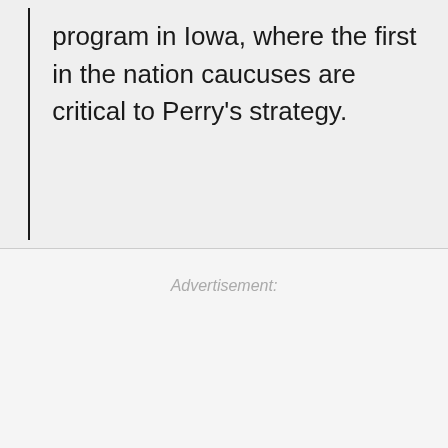program in Iowa, where the first in the nation caucuses are critical to Perry's strategy.
Advertisement: